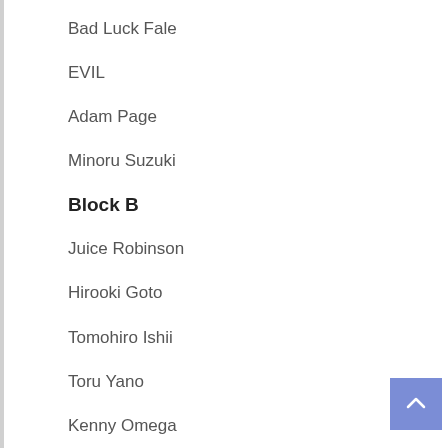Bad Luck Fale
EVIL
Adam Page
Minoru Suzuki
Block B
Juice Robinson
Hirooki Goto
Tomohiro Ishii
Toru Yano
Kenny Omega
Kota Ibushi